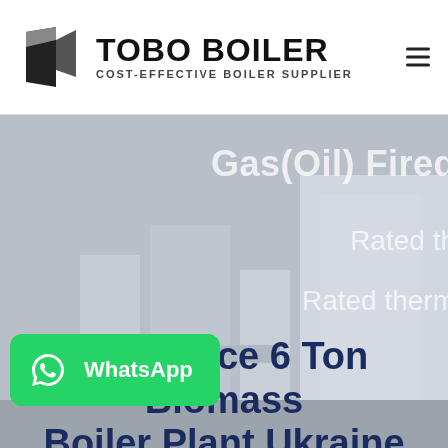[Figure (logo): TOBO BOILER logo with black geometric icon and text 'TOBO BOILER' and tagline 'COST-EFFECTIVE BOILER SUPPLIER']
[Figure (photo): Industrial boiler plant photo used as hero background, grey toned, with partially visible text overlay 'Gas(Oil) Fired', 'Rated th...', 'Rated therm...' on the right side]
Low Price 6 Ton Biomass Boiler Plant Ukraine
[Figure (other): WhatsApp button with phone icon and label 'WhatsApp' on green background]